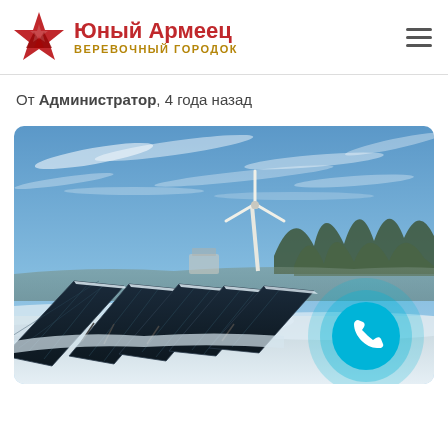Юный Армеец — ВЕРЕВОЧНЫЙ ГОРОДОК
От Администратор, 4 года назад
[Figure (photo): Winter renewable energy scene with solar panels covered in snow in the foreground and a wind turbine in the background against a blue sky with wispy clouds. Snowy forest visible on the right. A teal phone call button overlay appears in the bottom right corner.]